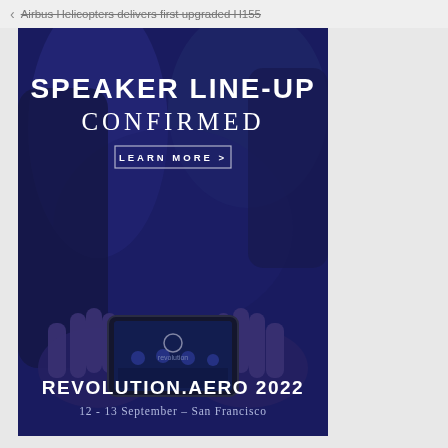Airbus Helicopters delivers first upgraded H155
[Figure (photo): Advertisement banner for Revolution.Aero 2022 conference. Dark blue-toned photo of hands holding a smartphone filming a conference panel. Overlaid text reads: SPEAKER LINE-UP CONFIRMED, LEARN MORE >, REVOLUTION.AERO 2022, 12 - 13 September - San Francisco]
SPEAKER LINE-UP CONFIRMED
LEARN MORE >
REVOLUTION.AERO 2022
12 - 13 September - San Francisco